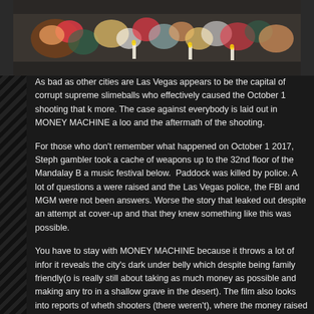[Figure (photo): Photo of flowers and candles memorial, likely related to the Las Vegas shooting memorial]
As bad as other cities are Las Vegas appears to be the capital of corrupt supreme slimeballs who effectively caused the October 1 shooting that k more. The case against everybody is laid out in MONEY MACHINE a loo and the aftermath of the shooting.
For those who don't remember what happened on October 1 2017, Steph gambler took a cache of weapons up to the 32nd floor of the Mandalay B a music festival below. Paddock was killed by police. A lot of questions a were raised and the Las Vegas police, the FBI and MGM were not been answers. Worse the story that leaked out despite an attempt at cover-up and that they knew something like this was possible.
You have to stay with MONEY MACHINE because it throws a lot of infor it reveals the city's dark under belly which despite being family friendly(o is really still about taking as much money as possible and making any tro in a shallow grave in the desert). The film also looks into reports of wheth shooters (there weren't), where the money raised for the victims really w victims blaming them for being in the line of fire, how the settlement was daughter of an MGM exec) and how Casinos control all of Vegas. It's a lo feels like it's going off course but it does pull it all together in the end.